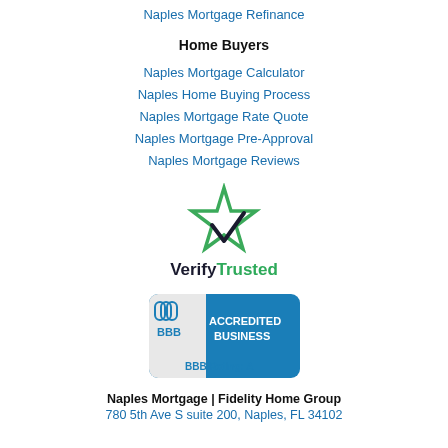Naples Mortgage Refinance
Home Buyers
Naples Mortgage Calculator
Naples Home Buying Process
Naples Mortgage Rate Quote
Naples Mortgage Pre-Approval
Naples Mortgage Reviews
[Figure (logo): VerifyTrusted logo with green star and checkmark]
[Figure (logo): BBB Accredited Business badge with BBB Rating: A]
Naples Mortgage | Fidelity Home Group
780 5th Ave S suite 200, Naples, FL 34102